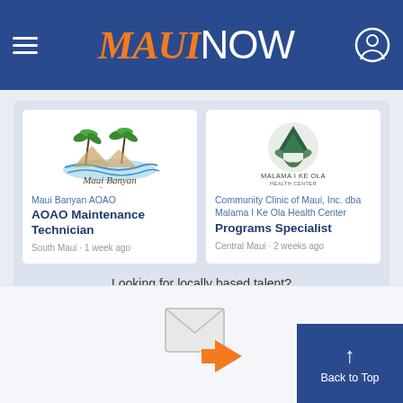MAUI NOW
[Figure (logo): Maui Banyan Resort logo with palm trees]
Maui Banyan AOAO
AOAO Maintenance Technician
South Maui · 1 week ago
[Figure (logo): Malama I Ke Ola Health Center logo with mountain/trees]
Community Clinic of Maui, Inc. dba Malama I Ke Ola Health Center
Programs Specialist
Central Maui · 2 weeks ago
Looking for locally based talent?
Post a Job Listing
[Figure (illustration): Email envelope with orange arrow icon]
Back to Top